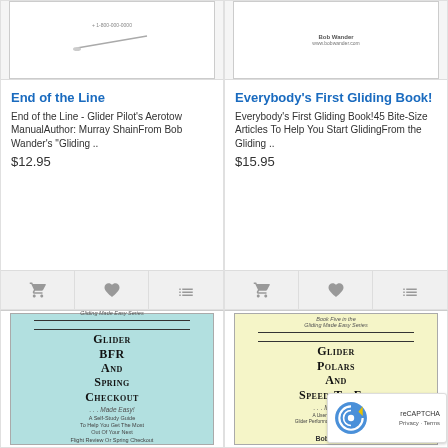[Figure (illustration): Book cover for 'End of the Line - Glider Pilot's Aerotow Manual' by Murray Shain]
End of the Line
End of the Line - Glider Pilot's Aerotow ManualAuthor:  Murray ShainFrom Bob Wander's "Gliding ..
$12.95
[Figure (illustration): Book cover for 'Everybody's First Gliding Book!' by Bob Wander]
Everybody's First Gliding Book!
Everybody's First Gliding Book!45 Bite-Size Articles To Help You Start GlidingFrom the Gliding ..
$15.95
[Figure (illustration): Book cover for 'Glider BFR and Spring Checkout ... Made Easy!' light blue cover]
[Figure (illustration): Book cover for 'Glider Polars and Speed-To-Fly ... Made Easy!' yellow cover by Bob Wander]